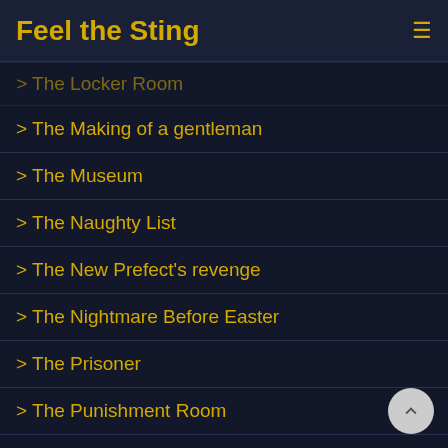Feel the Sting
> The Locker Room
> The Making of a gentleman
> The Museum
> The Naughty List
> The New Prefect's revenge
> The Nightmare Before Easter
> The Prisoner
> The Punishment Room
> The Punishment Room Part 2
> The Reformatory
> The Runner
> The Sixth Formers – Imperfect Prefects